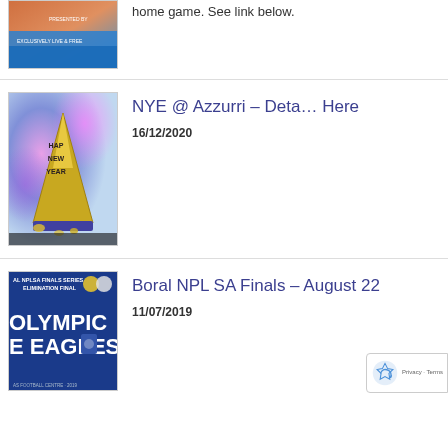[Figure (photo): Partial view of a promotional image cropped at top]
home game. See link below.
[Figure (photo): New Year Eve party hat with Happy New Year text, bokeh background with purple and pink lights]
NYE @ Azzurri – Deta… Here
16/12/2020
[Figure (photo): Boral NPL SA Finals Series Elimination Final – Olympic Eagles poster on blue background]
Boral NPL SA Finals – August 22
11/07/2019